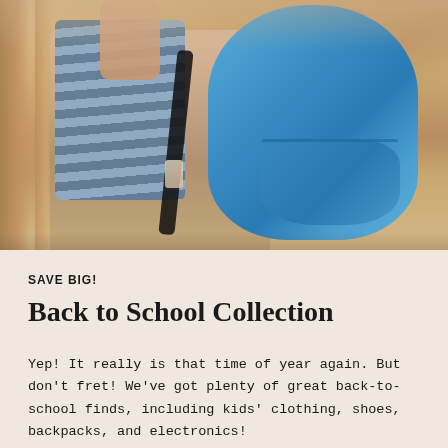[Figure (photo): Child from behind wearing a blue and white striped shirt, carrying a large bright blue backpack, standing in a warm sunlit outdoor setting with blurred background columns.]
SAVE BIG!
Back to School Collection
Yep! It really is that time of year again. But don't fret! We've got plenty of great back-to-school finds, including kids' clothing, shoes, backpacks, and electronics!